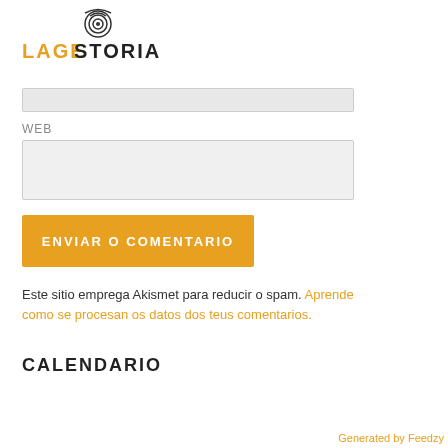[Figure (logo): LAGESTORIA logo with concentric circle icon above text, 'LAGE' in orange and 'STORIA' in black]
WEB
ENVIAR O COMENTARIO
Este sitio emprega Akismet para reducir o spam. Aprende como se procesan os datos dos teus comentarios.
CALENDARIO
[Figure (other): Calendar widget showing < 2022 > header with September month label, teal background, navigation arrows, and Month dropdown below]